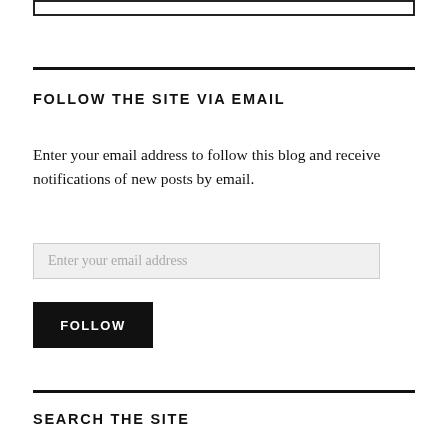FOLLOW THE SITE VIA EMAIL
Enter your email address to follow this blog and receive notifications of new posts by email.
SEARCH THE SITE